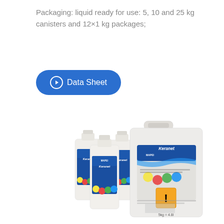Packaging: liquid ready for use: 5, 10 and 25 kg canisters and 12×1 kg packages;
[Figure (other): Blue rounded button with play/download icon and text 'Data Sheet']
[Figure (photo): Three small white bottles with blue Mapei Keranet product labels (colorful circles design) and one large white rectangular canister with the same Mapei Keranet branding and a hazard warning symbol, photographed on a white background.]